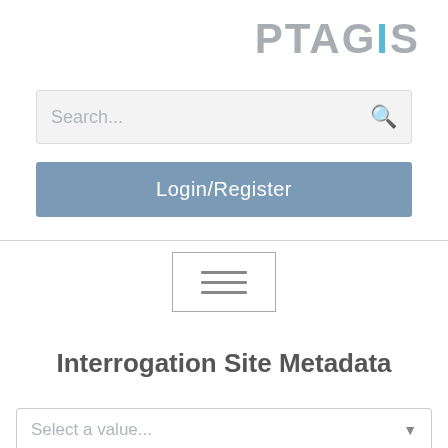[Figure (logo): PTAGIS logo text in gray with cyan letter I]
[Figure (screenshot): Search input box with placeholder text 'Search...' and a magnifying glass icon]
[Figure (screenshot): Blue-gray Login/Register button]
[Figure (screenshot): Hamburger menu icon button (three horizontal lines inside a rectangle border)]
Interrogation Site Metadata
[Figure (screenshot): Dropdown select box with placeholder 'Select a value...' and down arrow]